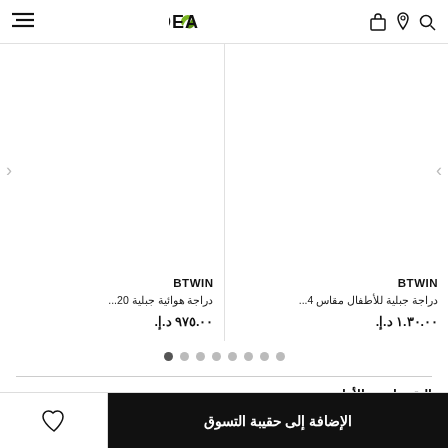ZADEA navigation bar with bag, location, search icons and hamburger menu
BTWIN
دراجة جبلية للأطفال مقاس 4...
١.٣٠.٠٠ د.إ.
BTWIN
دراجة هوائية جبلية 20...
٩٧٥.٠٠ د.إ.
التقييمات و الأراء
الإضافة إلى حقيبة التسوق